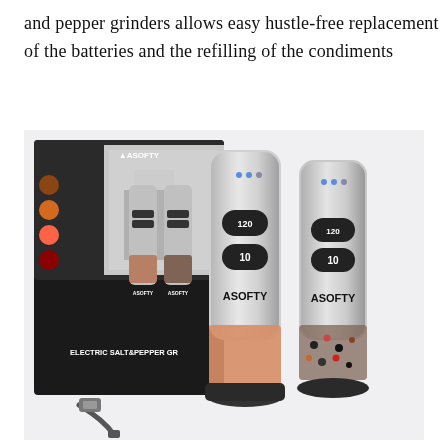and pepper grinders allows easy hustle-free replacement of the batteries and the refilling of the condiments
[Figure (photo): Product photo of ASOFTY Electric Salt & Pepper Grinder set showing two silver electric grinders with transparent lower compartments containing pink salt and mixed peppercorns, a charging dock, a USB charging cable, and the product packaging box labeled 'ELECTRIC SALT & PEPPER GR...' with the ASOFTY brand logo.]